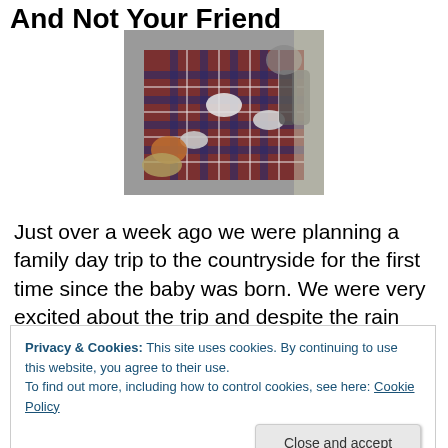And Not Your Friend
[Figure (photo): Overhead view of a picnic blanket with plaid pattern, food items, plates, and people sitting/standing around it indoors]
Just over a week ago we were planning a family day trip to the countryside for the first time since the baby was born. We were very excited about the trip and despite the rain
Privacy & Cookies: This site uses cookies. By continuing to use this website, you agree to their use.
To find out more, including how to control cookies, see here: Cookie Policy
Close and accept